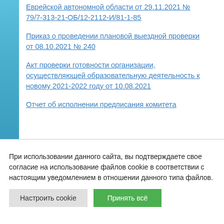Еврейской автономной области от 29.11.2021 № 79/7-313-21-ОБ/12-2112-И/81-1-85
Приказ о проведении плановой выездной проверки от 08.10.2021 № 240
Акт проверки готовности организации, осуществляющей образовательную деятельность к новому 2021-2022 году от 10.08.2021
Отчет об исполнении предписания комитета
При использовании данного сайта, вы подтверждаете свое согласие на использование файлов cookie в соответствии с настоящим уведомлением в отношении данного типа файлов.